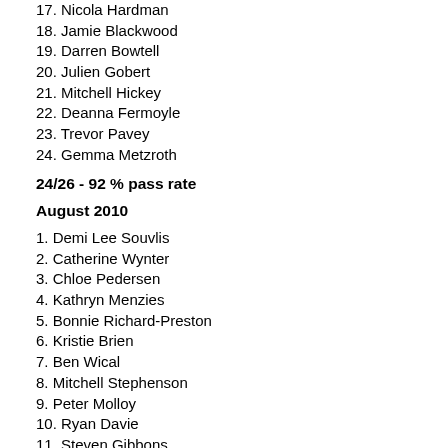17. Nicola Hardman
18. Jamie Blackwood
19. Darren Bowtell
20. Julien Gobert
21. Mitchell Hickey
22. Deanna Fermoyle
23. Trevor Pavey
24. Gemma Metzroth
24/26 - 92 % pass rate
August 2010
1. Demi Lee Souvlis
2. Catherine Wynter
3. Chloe Pedersen
4. Kathryn Menzies
5. Bonnie Richard-Preston
6. Kristie Brien
7. Ben Wical
8. Mitchell Stephenson
9. Peter Molloy
10. Ryan Davie
11. Steven Gibbons
12. Emma Gamby
13. Megan Blomdale
14. Anu Waidyathilaka
15. Alanie Joseph
16. Emma Taylor
17. Zak Lavender
18. Tracey Eades